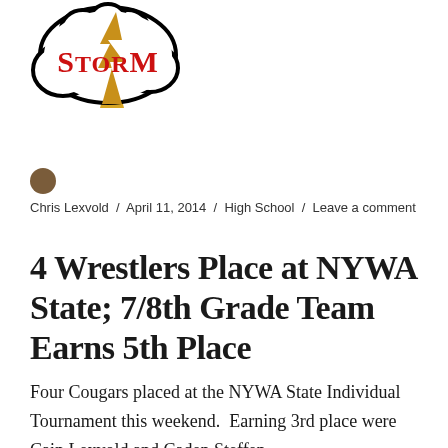[Figure (logo): Storm logo — a speech-bubble cloud shape in black outline with yellow lightning bolt at bottom, containing the word 'STORM' in bold red serif letters]
Chris Lexvold / April 11, 2014 / High School / Leave a comment
4 Wrestlers Place at NYWA State; 7/8th Grade Team Earns 5th Place
Four Cougars placed at the NYWA State Individual Tournament this weekend.  Earning 3rd place were Cain Lexvold and Caden Steffen.